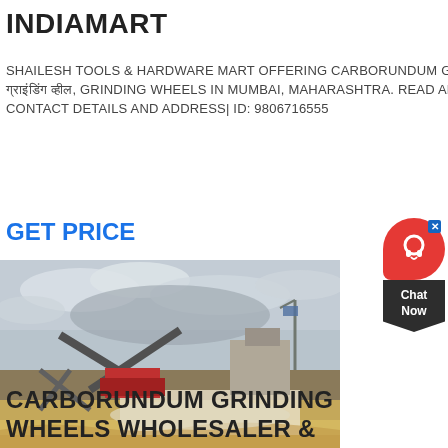INDIAMART
SHAILESH TOOLS & HARDWARE MART OFFERING CARBORUNDUM GRINDING WHEEL, कार्बोरंडम ग्राइंडिंग व्हील, GRINDING WHEELS IN MUMBAI, MAHARASHTRA. READ ABOUT COMPANY. GET CONTACT DETAILS AND ADDRESS| ID: 9806716555
GET PRICE
[Figure (photo): Industrial quarry/mining facility with conveyor belts and equipment, overcast sky, sandy/muddy terrain]
CARBORUNDUM GRINDING WHEELS WHOLESALER &